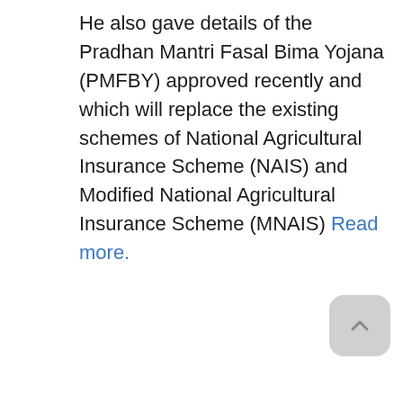He also gave details of the Pradhan Mantri Fasal Bima Yojana (PMFBY) approved recently and which will replace the existing schemes of National Agricultural Insurance Scheme (NAIS) and Modified National Agricultural Insurance Scheme (MNAIS) Read more.